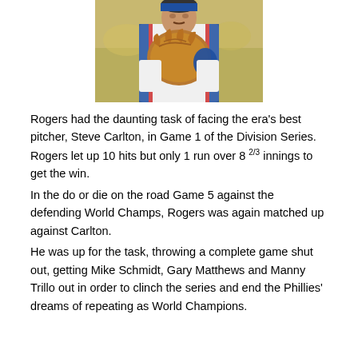[Figure (photo): A baseball player wearing a white uniform with blue and red trim, holding a large brown baseball glove up to their chest, photographed from the torso up.]
Rogers had the daunting task of facing the era's best pitcher, Steve Carlton, in Game 1 of the Division Series. Rogers let up 10 hits but only 1 run over 8 2/3 innings to get the win.
In the do or die on the road Game 5 against the defending World Champs, Rogers was again matched up against Carlton.
He was up for the task, throwing a complete game shut out, getting Mike Schmidt, Gary Matthews and Manny Trillo out in order to clinch the series and end the Phillies' dreams of repeating as World Champions.